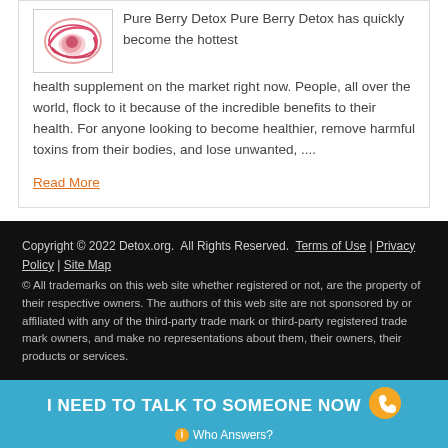[Figure (photo): Small product image showing Pure Berry Detox supplement with pink/red swirly design on white background]
Pure Berry Detox Pure Berry Detox has quickly become the hottest health supplement on the market right now. People, all over the world, flock to it because of the incredible benefits to their health. For anyone looking to become healthier, remove harmful toxins from their bodies, and lose unwanted, ....
Read More
Copyright © 2022 Detox.org.  All Rights Reserved.  Terms of Use | Privacy Policy | Site Map
© All trademarks on this web site whether registered or not, are the property of their respective owners. The authors of this web site are not sponsored by or affiliated with any of the third-party trade mark or third-party registered trade mark owners, and make no representations about them, their owners, their products or services.
I NEED TO TALK TO SOMEONE NOW
Who Answers?